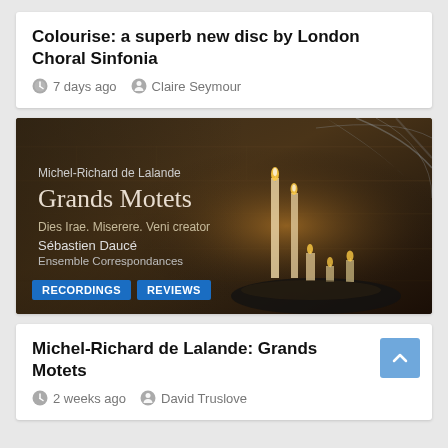Colourise: a superb new disc by London Choral Sinfonia
7 days ago   Claire Seymour
[Figure (photo): Album cover for Michel-Richard de Lalande: Grands Motets — Dies Irae. Miserere. Veni creator — Sébastien Daucé, Ensemble Correspondances. Dark atmospheric image with candles on a reflective surface, stone wall background. Tags: RECORDINGS, REVIEWS.]
Michel-Richard de Lalande: Grands Motets
2 weeks ago   David Truslove